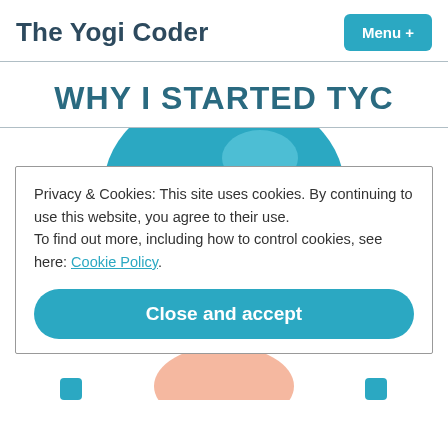The Yogi Coder  Menu +
WHY I STARTED TYC
[Figure (illustration): Illustration of a person (yogi/coder character) with teal hair/head visible, partially obscured by cookie consent dialog]
Privacy & Cookies: This site uses cookies. By continuing to use this website, you agree to their use.
To find out more, including how to control cookies, see here: Cookie Policy
Close and accept